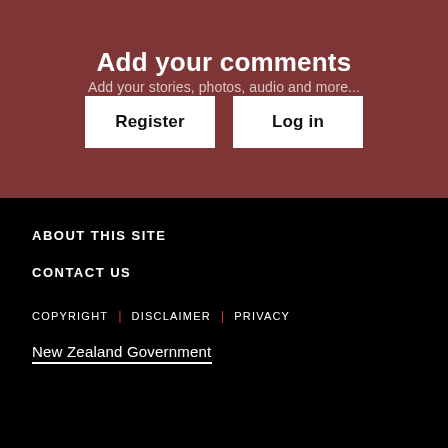Add your comments
Add your stories, photos, audio and more...
Register
Log in
ABOUT THIS SITE
CONTACT US
COPYRIGHT | DISCLAIMER | PRIVACY
[Figure (logo): New Zealand Government logo with text and underline]